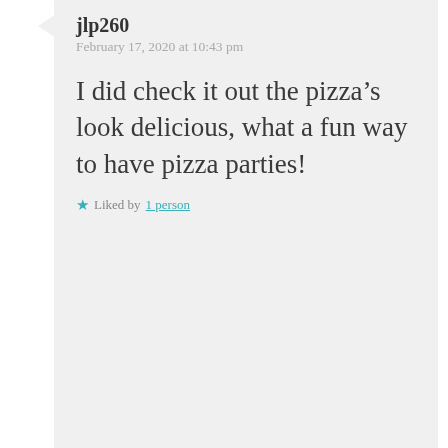jlp260
February 17, 2020 at 10:43 pm
I did check it out the pizza’s look delicious, what a fun way to have pizza parties!
Liked by 1 person
Perth Girl
February 18, 2020 at 5:00 am
It is and is usually a hit